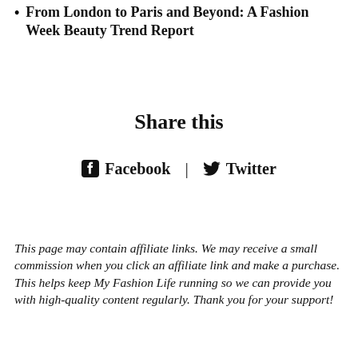From London to Paris and Beyond: A Fashion Week Beauty Trend Report
Share this
Facebook | Twitter
This page may contain affiliate links. We may receive a small commission when you click an affiliate link and make a purchase. This helps keep My Fashion Life running so we can provide you with high-quality content regularly. Thank you for your support!